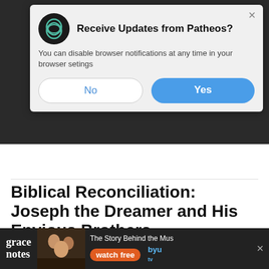[Figure (screenshot): Browser push notification popup from Patheos asking to receive updates. Contains Patheos logo, title 'Receive Updates from Patheos?', body text, and No/Yes buttons.]
Get newsletters and updates
Biblical Reconciliation: Joseph the Dreamer and His Envious Brothers
FEBRUARY 23, 2022 BY CONNOR BRENNAN
COMMENTS
[Figure (screenshot): Advertisement banner for 'grace notes' show on BYU tv. Shows text 'The Story Behind the Music' and 'watch free' button.]